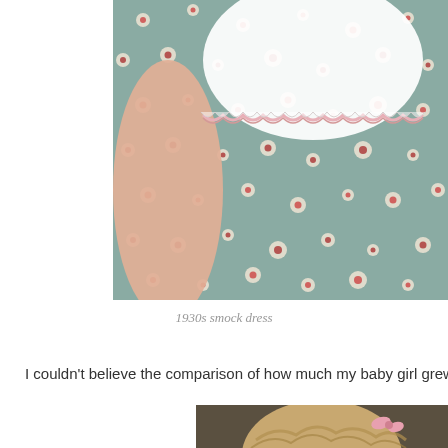[Figure (photo): Close-up photo of a child wearing a 1930s smock dress with a teal/sage green floral print fabric featuring white and red flowers, and a white eyelet lace collar with pink trim. A child's bare arm is visible.]
1930s smock dress
I couldn't believe the comparison of how much my baby girl grew in
[Figure (photo): Partial photo showing the top of a young child's head with wavy/curly blonde-brown hair and a small pink bow/clip.]